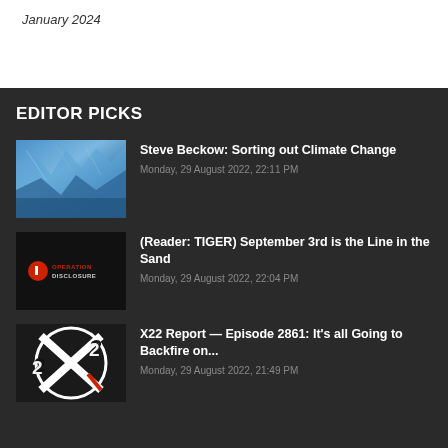January 2024
EDITOR PICKS
[Figure (photo): Glacier/ice wall blue photo thumbnail]
Steve Beckow: Sorting out Climate Change
Monday, 29 August 2022, 22:11 PM
[Figure (logo): Operation Disclosure logo on dark background]
(Reader: TIGER) September 3rd is the Line in the Sand
Monday, 29 August 2022, 22:04 PM
[Figure (logo): X22 logo - black and white stylized X with 22]
X22 Report — Episode 2861: It's all Going to Backfire on...
Monday, 29 August 2022, 21:49 PM